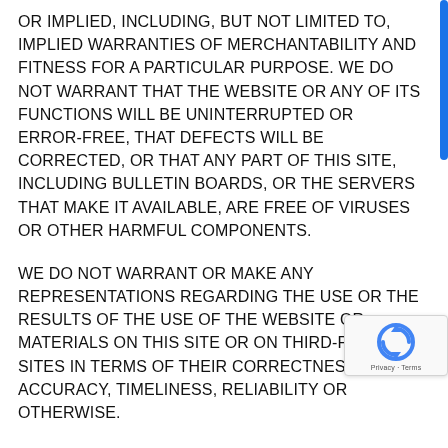OR IMPLIED, INCLUDING, BUT NOT LIMITED TO, IMPLIED WARRANTIES OF MERCHANTABILITY AND FITNESS FOR A PARTICULAR PURPOSE. WE DO NOT WARRANT THAT THE WEBSITE OR ANY OF ITS FUNCTIONS WILL BE UNINTERRUPTED OR ERROR-FREE, THAT DEFECTS WILL BE CORRECTED, OR THAT ANY PART OF THIS SITE, INCLUDING BULLETIN BOARDS, OR THE SERVERS THAT MAKE IT AVAILABLE, ARE FREE OF VIRUSES OR OTHER HARMFUL COMPONENTS.
WE DO NOT WARRANT OR MAKE ANY REPRESENTATIONS REGARDING THE USE OR THE RESULTS OF THE USE OF THE WEBSITE OR MATERIALS ON THIS SITE OR ON THIRD-PARTY SITES IN TERMS OF THEIR CORRECTNESS, ACCURACY, TIMELINESS, RELIABILITY OR OTHERWISE.
You agree at all times to defend, indemnify and hold harml COMPANY its affiliates, their successors, transferees, assi and licensees and their respective parent and subsidiary